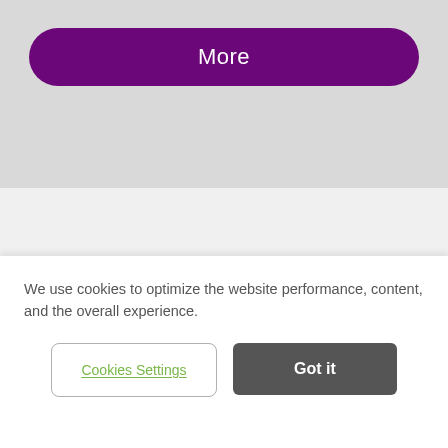[Figure (screenshot): Purple rounded rectangle button labeled 'More' on a light gray background]
[Figure (illustration): Light gray section with dark red corner bracket decorations (top-left and top-right) and large orange quotation marks]
We use cookies to optimize the website performance, content, and the overall experience.
Cookies Settings
Got it